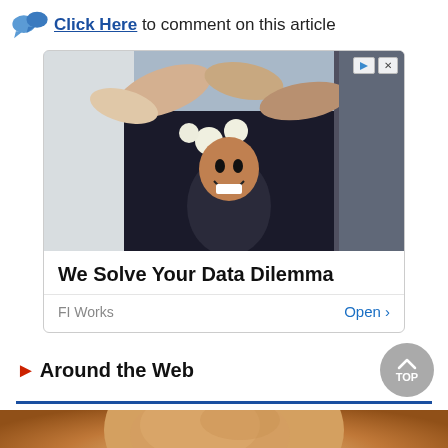Click Here to comment on this article
[Figure (photo): Advertisement banner showing people high-fiving in a group, with ad text 'We Solve Your Data Dilemma' and source 'FI Works' with an 'Open' button]
Around the Web
[Figure (photo): Close-up photo of the top/back of a bald man's head with warm background tones]